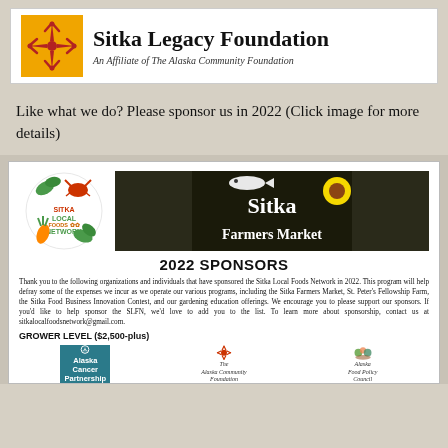[Figure (logo): Sitka Legacy Foundation logo banner with gold/orange decorative star icon on left and organization name on right]
Like what we do? Please sponsor us in 2022 (Click image for more details)
[Figure (infographic): 2022 Sponsors flyer for Sitka Local Foods Network and Sitka Farmers Market with logos, sponsor description text, GROWER LEVEL ($2,500-plus) heading, and logos for Alaska Cancer Partnership, The Alaska Community Foundation, and Alaska Food Policy Council]